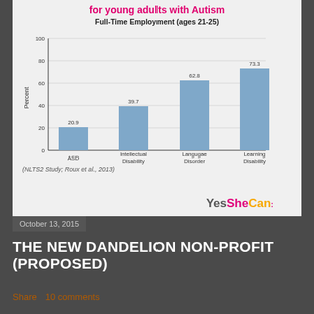[Figure (bar-chart): Full-Time Employment (ages 21-25)]
(NLTS2 Study; Roux et al., 2013)
Yes She Can:
October 13, 2015
THE NEW DANDELION NON-PROFIT (PROPOSED)
Share   10 comments